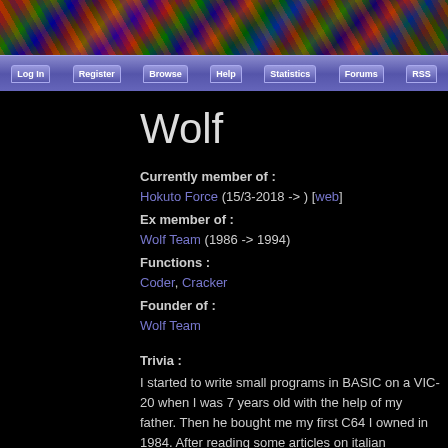[Figure (illustration): Colorful banner header image with mosaic/artistic imagery]
Log In | Register | Browse | Help | Statistics | Forums | RSS
Wolf
Currently member of : Hokuto Force (15/3-2018 -> ) [web]
Ex member of : Wolf Team (1986 -> 1994)
Functions : Coder, Cracker
Founder of : Wolf Team
Trivia : I started to write small programs in BASIC on a VIC-20 when I was 7 years old with the help of my father. Then he bought me my first C64 I owned in 1984. After reading some articles on italian magazines about (un)techniques, I started in 1986 to made mt first cracks. Usually my tape-loaders trojan was enough to do my j sometimes I failed. Also, I didn't owned a good crunch